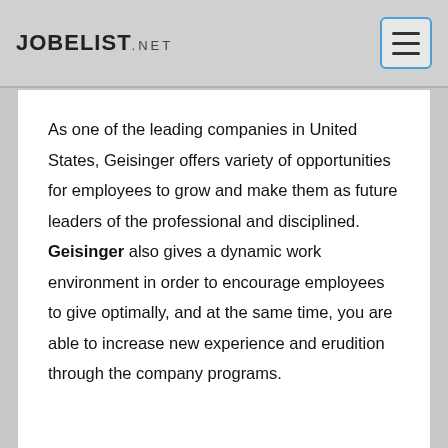JOBELIST.NET
As one of the leading companies in United States, Geisinger offers variety of opportunities for employees to grow and make them as future leaders of the professional and disciplined. Geisinger also gives a dynamic work environment in order to encourage employees to give optimally, and at the same time, you are able to increase new experience and erudition through the company programs.